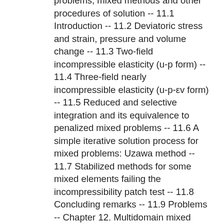problems, mixed methods and other procedures of solution -- 11.1 Introduction -- 11.2 Deviatoric stress and strain, pressure and volume change -- 11.3 Two-field incompressible elasticity (u-p form) -- 11.4 Three-field nearly incompressible elasticity (u-p-εv form) -- 11.5 Reduced and selective integration and its equivalence to penalized mixed problems -- 11.6 A simple iterative solution process for mixed problems: Uzawa method -- 11.7 Stabilized methods for some mixed elements failing the incompressibility patch test -- 11.8 Concluding remarks -- 11.9 Problems -- Chapter 12. Multidomain mixed approximations- domain decomposition and 'frame' methods -- 12.1 Introduction -- 12.2 Linking of two or more subdomains by Lagrange multipliers -- 12.3 Linking of two or more subdomains by perturbed lagrangian and penalty methods -- 12.4 Interface displacement 'frame' -- 12.5 Linking of boundary (or Trefftz)-type solution by the 'frame' of specified displacements -- 12.6 Subdomains with 'standard' elements and global functions -- 12.7 Concluding remarks -- 12.8 Problems -- Chapter 13. Errors, recovery;